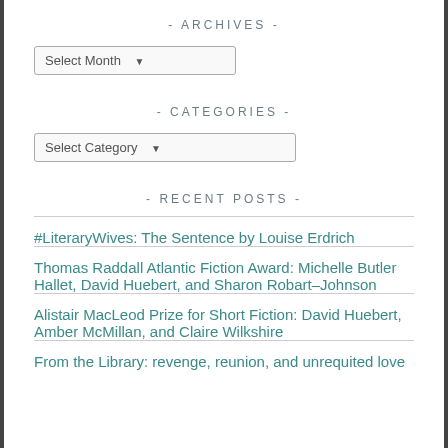- ARCHIVES -
Select Month
- CATEGORIES -
Select Category
- RECENT POSTS -
#LiteraryWives: The Sentence by Louise Erdrich
Thomas Raddall Atlantic Fiction Award: Michelle Butler Hallet, David Huebert, and Sharon Robart–Johnson
Alistair MacLeod Prize for Short Fiction: David Huebert, Amber McMillan, and Claire Wilkshire
From the Library: revenge, reunion, and unrequited love